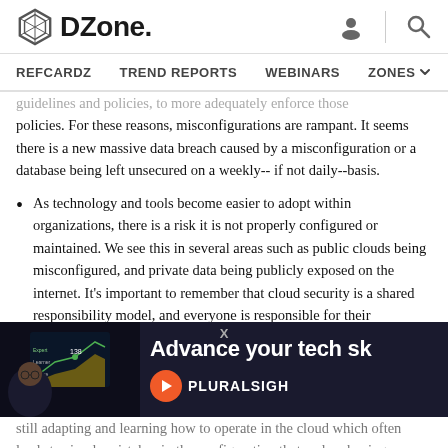DZone. REFCARDZ TREND REPORTS WEBINARS ZONES
guidelines and policies, to more adequately enforce those policies. For these reasons, misconfigurations are rampant. It seems there is a new massive data breach caused by a misconfiguration or a database being left unsecured on a weekly--if not daily--basis.
As technology and tools become easier to adopt within organizations, there is a risk it is not properly configured or maintained. We see this in several areas such as public clouds being misconfigured, and private data being publicly exposed on the internet. It's important to remember that cloud security is a shared responsibility model, and everyone is responsible for their contribution to make the whole system secure. Another area is the
[Figure (photo): Advertisement banner for Pluralsight showing a person with glasses in front of a dark screen with charts, text reads 'Advance your tech sk' and Pluralsight logo]
still adapting and learning how to operate in the cloud which often leads to simple mistakes in the configuration that end up having a